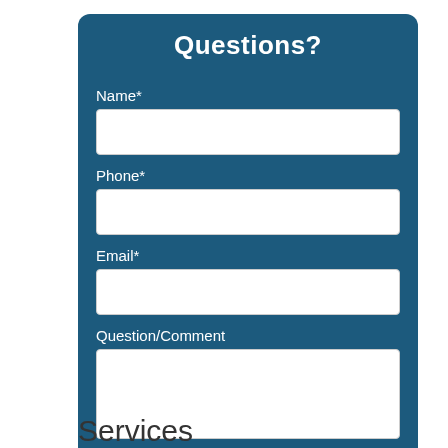Questions?
Name*
Phone*
Email*
Question/Comment
Send
Services